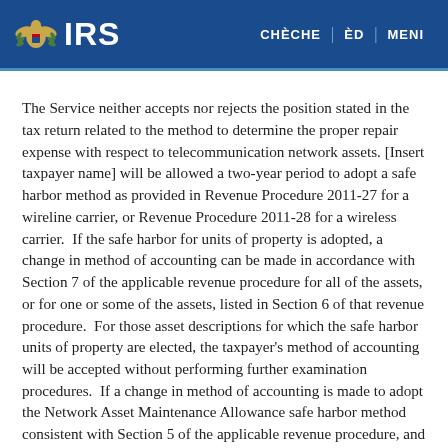IRS | CHÈCHE | ÈD | MENI
The Service neither accepts nor rejects the position stated in the tax return related to the method to determine the proper repair expense with respect to telecommunication network assets. [Insert taxpayer name] will be allowed a two-year period to adopt a safe harbor method as provided in Revenue Procedure 2011-27 for a wireline carrier, or Revenue Procedure 2011-28 for a wireless carrier.  If the safe harbor for units of property is adopted, a change in method of accounting can be made in accordance with Section 7 of the applicable revenue procedure for all of the assets, or for one or some of the assets, listed in Section 6 of that revenue procedure.  For those asset descriptions for which the safe harbor units of property are elected, the taxpayer's method of accounting will be accepted without performing further examination procedures.  If a change in method of accounting is made to adopt the Network Asset Maintenance Allowance safe harbor method consistent with Section 5 of the applicable revenue procedure, and the computation method so elected to use has resulted the taxpayer acknowledged